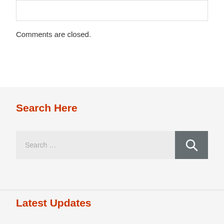Comments are closed.
Search Here
[Figure (other): Search input field with placeholder 'Search …' and a dark grey search button with magnifying glass icon]
Latest Updates
DRDO CEPTAM 10 Notification (OUT)